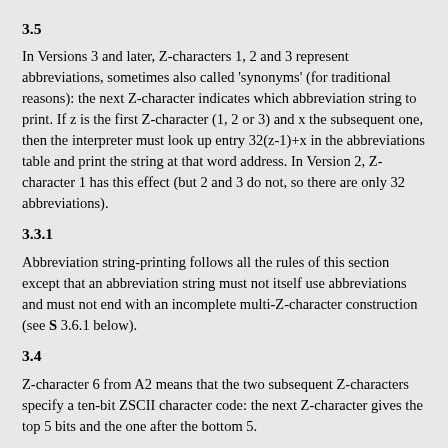3.5
In Versions 3 and later, Z-characters 1, 2 and 3 represent abbreviations, sometimes also called 'synonyms' (for traditional reasons): the next Z-character indicates which abbreviation string to print. If z is the first Z-character (1, 2 or 3) and x the subsequent one, then the interpreter must look up entry 32(z-1)+x in the abbreviations table and print the string at that word address. In Version 2, Z-character 1 has this effect (but 2 and 3 do not, so there are only 32 abbreviations).
3.3.1
Abbreviation string-printing follows all the rules of this section except that an abbreviation string must not itself use abbreviations and must not end with an incomplete multi-Z-character construction (see S 3.6.1 below).
3.4
Z-character 6 from A2 means that the two subsequent Z-characters specify a ten-bit ZSCII character code: the next Z-character gives the top 5 bits and the one after the bottom 5.
3.5